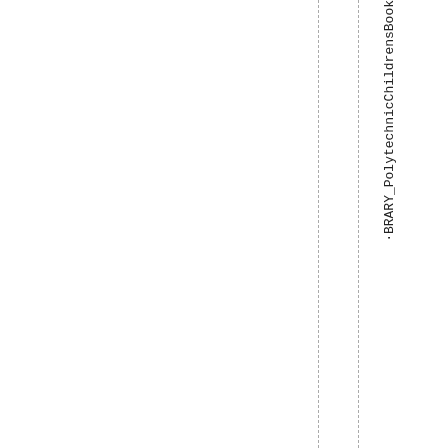BRARY_PolytechnicChildrensBook